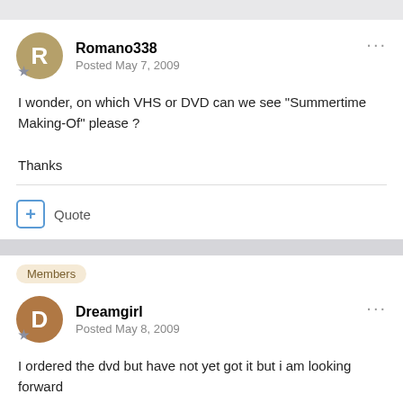Romano338
Posted May 7, 2009
I wonder, on which VHS or DVD can we see "Summertime Making-Of" please ?

Thanks
Quote
Members
Dreamgirl
Posted May 8, 2009
I ordered the dvd but have not yet got it but i am looking forward